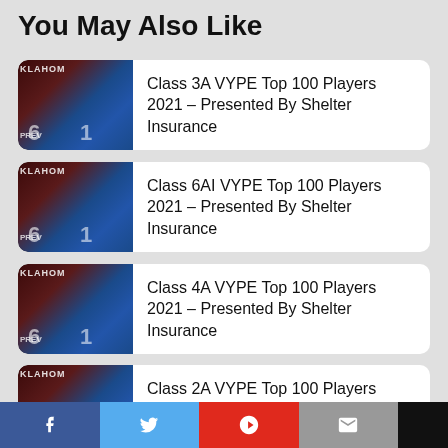You May Also Like
Class 3A VYPE Top 100 Players 2021 – Presented By Shelter Insurance
Class 6AI VYPE Top 100 Players 2021 – Presented By Shelter Insurance
Class 4A VYPE Top 100 Players 2021 – Presented By Shelter Insurance
Class 2A VYPE Top 100 Players 2021 – Presented By Shelter Insurance
Facebook  Twitter  Flipboard  Email  (share bar)